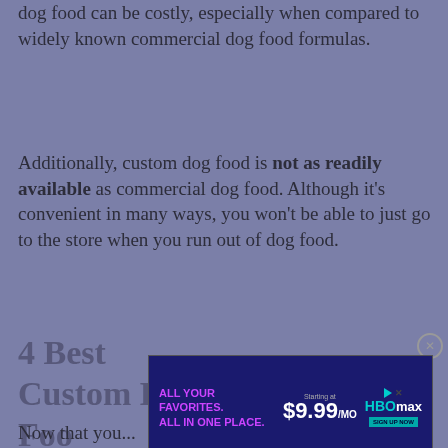dog food can be costly, especially when compared to widely known commercial dog food formulas.
Additionally, custom dog food is not as readily available as commercial dog food. Although it's convenient in many ways, you won't be able to just go to the store when you run out of dog food.
4 Best Custom Dog Food...
[Figure (infographic): HBO Max advertisement banner: ALL YOUR FAVORITES. ALL IN ONE PLACE. Starting at $9.99/MO. SIGN UP NOW.]
Now that you...